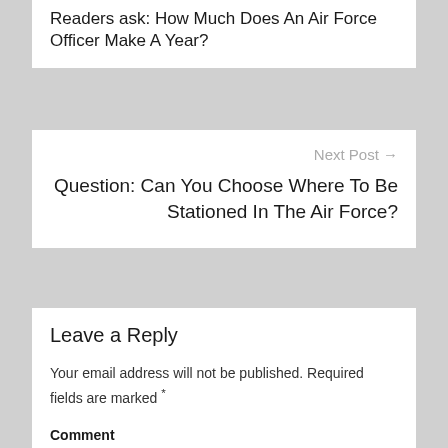Readers ask: How Much Does An Air Force Officer Make A Year?
Next Post →
Question: Can You Choose Where To Be Stationed In The Air Force?
Leave a Reply
Your email address will not be published. Required fields are marked *
Comment